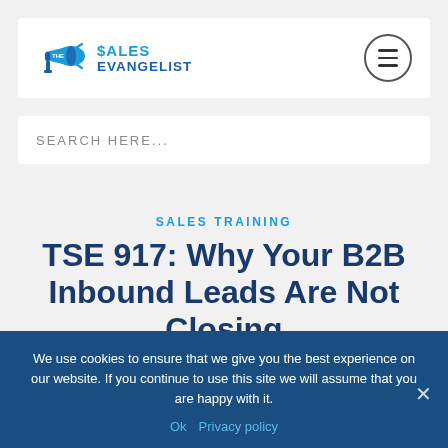[Figure (logo): The Sales Evangelist logo with megaphone icon and text '$ALES EVANGELIST']
SEARCH HERE...
SALES TRAINING
TSE 917: Why Your B2B Inbound Leads Are Not Closing
We use cookies to ensure that we give you the best experience on our website. If you continue to use this site we will assume that you are happy with it.
Ok   Privacy policy